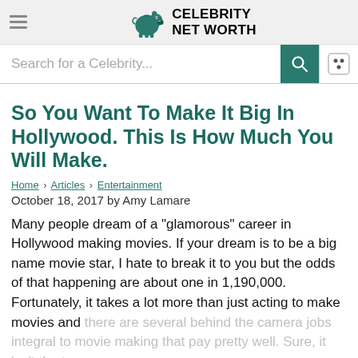Celebrity Net Worth
So You Want To Make It Big In Hollywood. This Is How Much You Will Make.
Home › Articles › Entertainment
October 18, 2017 by Amy Lamare
Many people dream of a "glamorous" career in Hollywood making movies. If your dream is to be a big name movie star, I hate to break it to you but the odds of that happening are about one in 1,190,000. Fortunately, it takes a lot more than just acting to make movies and there are several behind the camera jobs integral to movie making that pay pretty well. Sure, it isn't the tens